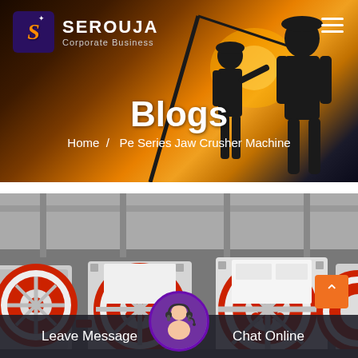SEROUJA Corporate Business
Blogs
Home / Pe Series Jaw Crusher Machine
[Figure (photo): Photo of industrial jaw crusher machines in a factory, showing large red and white flywheels/wheels with red rims, typical PE series jaw crusher equipment in a workshop setting]
Leave Message
Chat Online